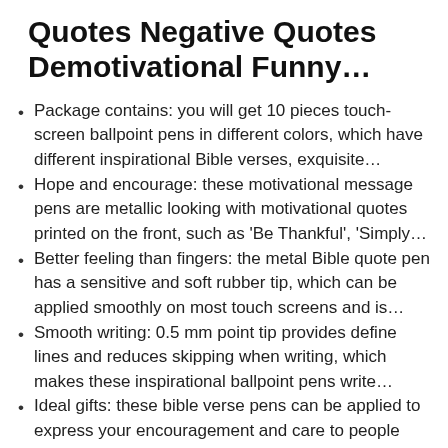Quotes Negative Quotes Demotivational Funny…
Package contains: you will get 10 pieces touch-screen ballpoint pens in different colors, which have different inspirational Bible verses, exquisite…
Hope and encourage: these motivational message pens are metallic looking with motivational quotes printed on the front, such as 'Be Thankful', 'Simply…
Better feeling than fingers: the metal Bible quote pen has a sensitive and soft rubber tip, which can be applied smoothly on most touch screens and is…
Smooth writing: 0.5 mm point tip provides define lines and reduces skipping when writing, which makes these inspirational ballpoint pens write…
Ideal gifts: these bible verse pens can be applied to express your encouragement and care to people around